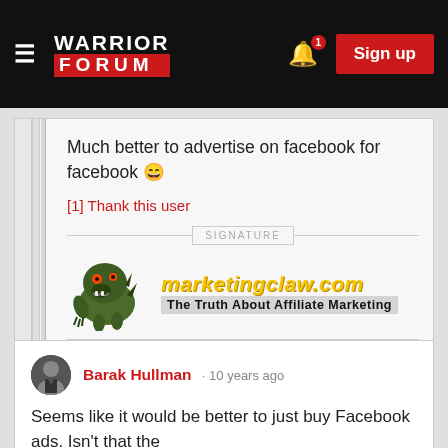Warrior Forum
Much better to advertise on facebook for facebook 😄
[1] Thank this user
[Figure (logo): MarketingClaw.com logo with green monster and yellow italic text, tagline: The Truth About Affiliate Marketing]
Barak Hullman · 10 years ago
Seems like it would be better to just buy Facebook ads. Isn't that the